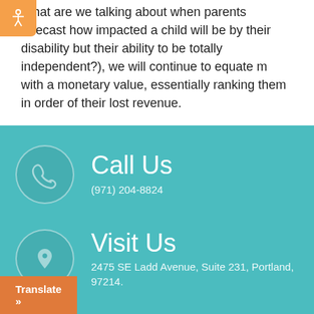What are we talking about when parents forecast how impacted a child will be by their disability but their ability to be totally independent?), we will continue to equate m with a monetary value, essentially ranking them in order of their lost revenue.
[Figure (infographic): Teal colored contact section with 'Call Us' heading, phone icon in circle, phone number (971) 204-8824, and 'Visit Us' heading with location pin icon and address 2475 SE Ladd Avenue, Suite 231, Portland, 97214. Also includes an orange accessibility button and Translate button.]
Call Us
(971) 204-8824
Visit Us
2475 SE Ladd Avenue, Suite 231, Portland, 97214.